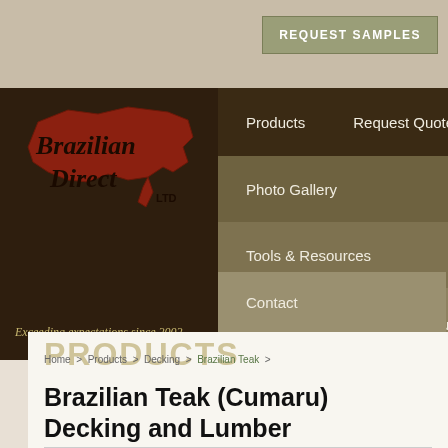[Figure (logo): Brazilian Direct LTD logo with red USA map silhouette and italic script text 'Brazilian Direct LTD']
REQUEST SAMPLES
Products
Request Quote
Photo Gallery
Tools & Resources
Flooring Professionals
About
Contact
Exceeding expectations since 2002
PRODUCTS
Home > Products > Decking > Brazilian Teak >
Brazilian Teak (Cumaru) Decking and Lumber